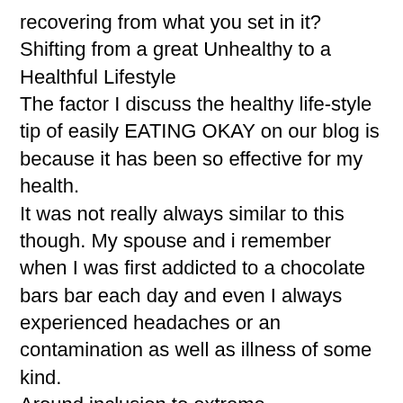recovering from what you set in it? Shifting from a great Unhealthy to a Healthful Lifestyle The factor I discuss the healthy life-style tip of easily EATING OKAY on our blog is because it has been so effective for my health. It was not really always similar to this though. My spouse and i remember when I was first addicted to a chocolate bars bar each day and even I always experienced headaches or an contamination as well as illness of some kind. Around inclusion to extreme carbohydrates cravings (eating a new chocolate bar each day) I actually in addition suffered from many poor symptoms that have been challenging to resolve by way of regular remedies: Frequent head aches, Skin complications (ie. careful, pimples, urticaria, Bloating, Fuel, Bad Breath, Vulnerable or even brittle hair and nails, Fatigue and lethargy, Too much stress, Candida overgrowth, Yeast infections, Food